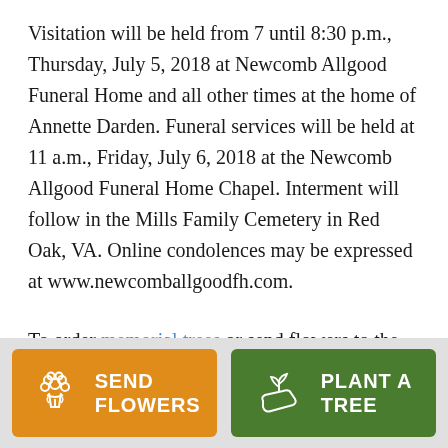Visitation will be held from 7 until 8:30 p.m., Thursday, July 5, 2018 at Newcomb Allgood Funeral Home and all other times at the home of Annette Darden. Funeral services will be held at 11 a.m., Friday, July 6, 2018 at the Newcomb Allgood Funeral Home Chapel. Interment will follow in the Mills Family Cemetery in Red Oak, VA. Online condolences may be expressed at www.newcomballgoodfh.com.
To order memorial trees or send flowers to the family in memory of Shirley Faye Mills, please visit our
[Figure (other): Two call-to-action buttons at the bottom: orange 'SEND FLOWERS' button with flower bouquet icon, and green 'PLANT A TREE' button with seedling/hand icon]